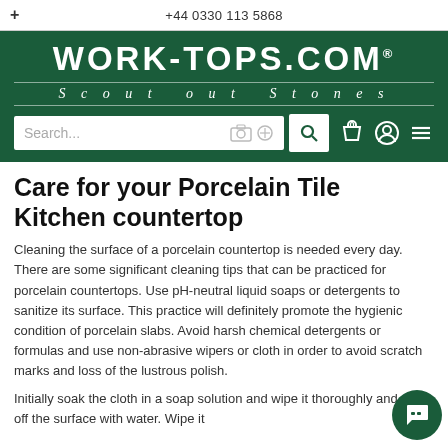+ | +44 0330 113 5868
[Figure (logo): WORK-TOPS.COM logo with tagline 'Scout out Stones' on dark green background with search bar]
Care for your Porcelain Tile Kitchen countertop
Cleaning the surface of a porcelain countertop is needed every day. There are some significant cleaning tips that can be practiced for porcelain countertops. Use pH-neutral liquid soaps or detergents to sanitize its surface. This practice will definitely promote the hygienic condition of porcelain slabs. Avoid harsh chemical detergents or formulas and use non-abrasive wipers or cloth in order to avoid scratch marks and loss of the lustrous polish.
Initially soak the cloth in a soap solution and wipe it thoroughly and rinse off the surface with water. Wipe it